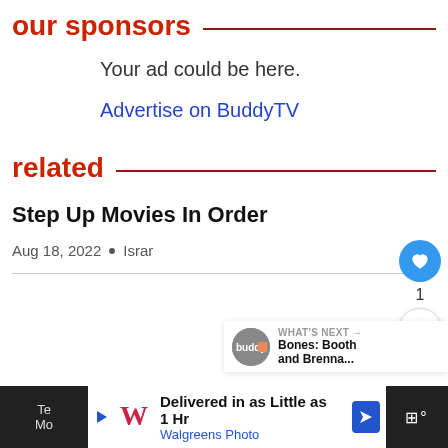our sponsors
Your ad could be here.
Advertise on BuddyTV
related
Step Up Movies In Order
Aug 18, 2022  •  Israr
[Figure (other): WHAT'S NEXT arrow widget showing Bones: Booth and Brenna... with BuddyTV logo avatar]
[Figure (other): Bottom advertisement banner: Walgreens Photo - Delivered in as Little as 1 Hr]